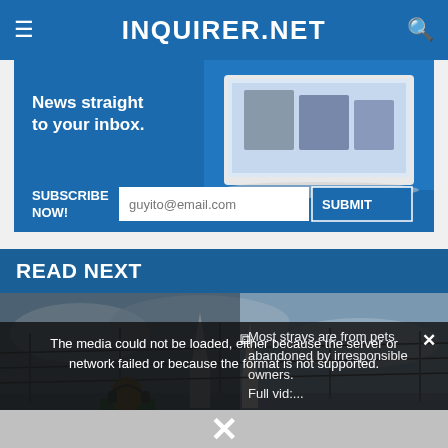INQUIRER.NET
[Figure (infographic): Newsletter subscription banner with laptop image. Text: 'News straight to your inbox.' Subscribe Now button with email field 'guyito@email.com' and SUBMIT button.]
READ NEXT
[Figure (photo): Photo showing barbed wire fencing with a gothic church spire/steeple in the background against a cloudy sky. A person in green shirt visible at bottom.]
The media could not be loaded, either because the server or network failed or because the format is not supported.
Most strays are from pets abandoned by irresponsible owners. Full vid:...